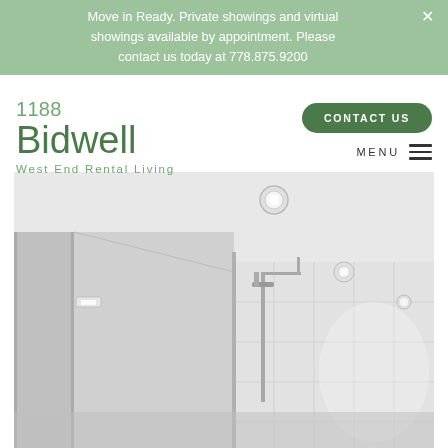Move in Ready. Private showings and virtual showings available by appointment. Please contact us today at 778.875.9200
1188 Bidwell
West End Rental Living
CONTACT US
MENU
[Figure (photo): Interior bathroom photo showing a modern shower area with white tiles, a ceiling-mounted rain shower head, recessed lighting, and glass partition. The room has a bright, minimalist design with white walls and ceiling.]